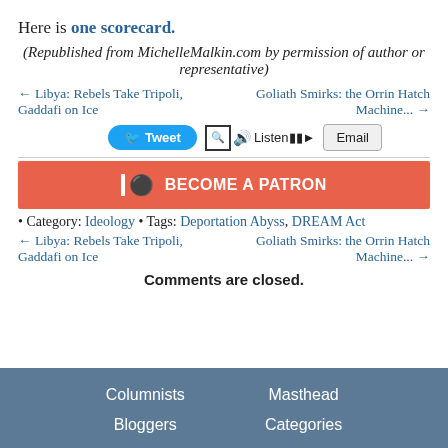Here is one scorecard.
(Republished from MichelleMalkin.com by permission of author or representative)
← Libya: Rebels Take Tripoli, Gaddafi on Ice
Goliath Smirks: the Orrin Hatch Machine... →
Tweet  Listen  Email
[Figure (other): Become a Patron button (Patreon)]
• Category: Ideology • Tags: Deportation Abyss, DREAM Act
← Libya: Rebels Take Tripoli, Gaddafi on Ice
Goliath Smirks: the Orrin Hatch Machine... →
Comments are closed.
Columnists  Masthead  Bloggers  Categories